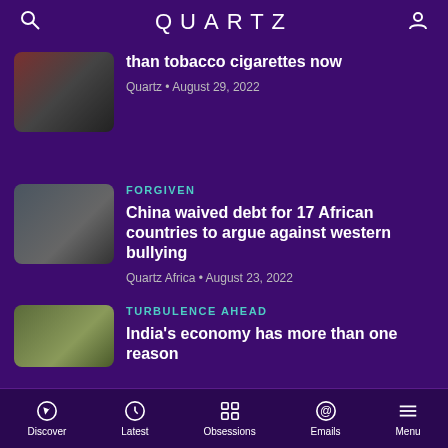QUARTZ
than tobacco cigarettes now
Quartz • August 29, 2022
FORGIVEN
China waived debt for 17 African countries to argue against western bullying
Quartz Africa • August 23, 2022
TURBULENCE AHEAD
India's economy has more than one reason
QUARTZ
Discover  Latest  Obsessions  Emails  Menu